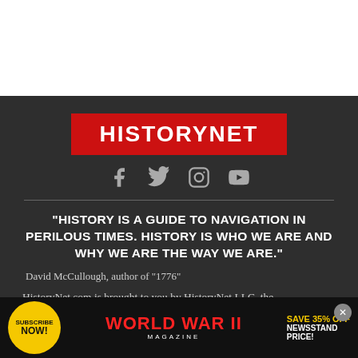[Figure (logo): HistoryNet logo: red rectangle with white bold text HISTORYNET]
[Figure (infographic): Social media icons: Facebook, Twitter/X, Instagram, YouTube in grey on dark background]
“HISTORY IS A GUIDE TO NAVIGATION IN PERILOUS TIMES. HISTORY IS WHO WE ARE AND WHY WE ARE THE WAY WE ARE.”
David McCullough, author of “1776”
HistoryNet.com is brought to you by HistoryNet LLC, the
[Figure (infographic): Advertisement banner: Subscribe Now button (yellow circle), World War II Magazine title in red, Save 35% Off Newsstand Price text]